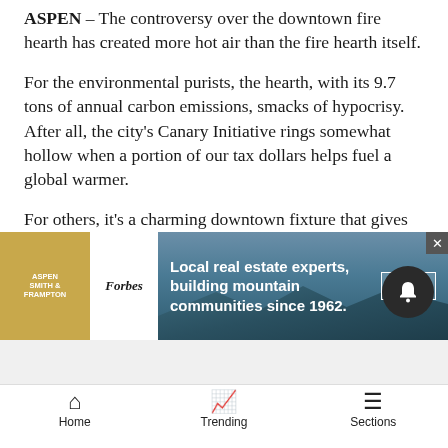ASPEN – The controversy over the downtown fire hearth has created more hot air than the fire hearth itself.
For the environmental purists, the hearth, with its 9.7 tons of annual carbon emissions, smacks of hypocrisy. After all, the city's Canary Initiative rings somewhat hollow when a portion of our tax dollars helps fuel a global warmer.
For others, it's a charming downtown fixture that gives people a place to gather, sip cider and warm their hands " as if it were out of a Norman Rockwell painting. It also serves as a glorified lighter of cigarettes, which is not so Rockwellesque.
[Figure (other): Advertisement banner for Aspen Smith & Frampton and Forbes: 'Local real estate experts, building mountain communities since 1962.' with VISIT button]
Home   Trending   Sections